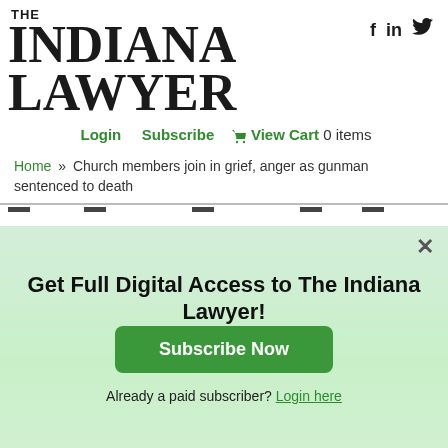THE INDIANA LAWYER
[Figure (logo): Social media icons: Facebook (f), LinkedIn (in), Twitter bird icon]
Login  Subscribe  View Cart 0 items
Home » Church members join in grief, anger as gunman sentenced to death
Get Full Digital Access to The Indiana Lawyer!
Subscribe Now
Already a paid subscriber? Login here